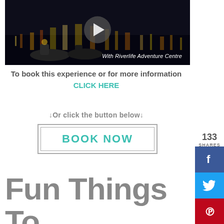[Figure (screenshot): Video thumbnail showing kayakers on a dark nighttime river with city lights reflected in the water. A play button is centered on the image. Text reads 'With Riverlife Adventure Centre' at the bottom right.]
To book this experience or for more information CLICK HERE
↓Or click the button below↓
BOOK NOW
Fun Things To